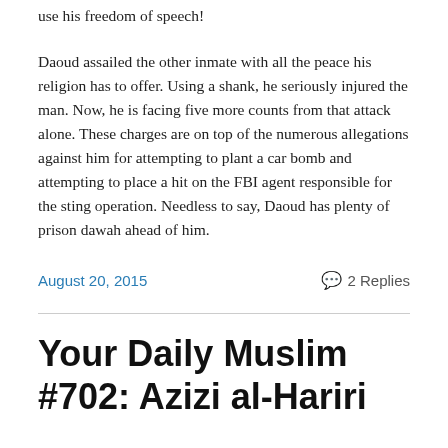use his freedom of speech!
Daoud assailed the other inmate with all the peace his religion has to offer. Using a shank, he seriously injured the man. Now, he is facing five more counts from that attack alone. These charges are on top of the numerous allegations against him for attempting to plant a car bomb and attempting to place a hit on the FBI agent responsible for the sting operation. Needless to say, Daoud has plenty of prison dawah ahead of him.
August 20, 2015
2 Replies
Your Daily Muslim #702: Azizi al-Hariri